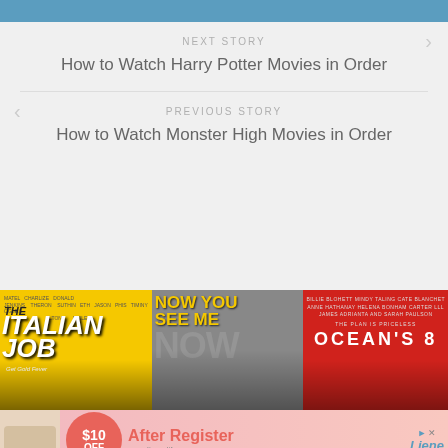NEXT STORY
How to Watch Harry Potter Movies in Order
PREVIOUS STORY
How to Watch Monster High Movies in Order
[Figure (photo): Three movie posters side by side: The Italian Job (yellow background), Now You See Me (gray background), Ocean's 8 (red background)]
[Figure (photo): Advertisement banner: Liene brand, $10 OFF After Register, www.liene-life.com]